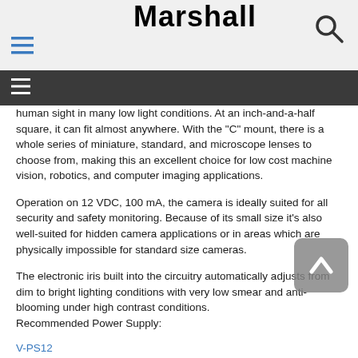Marshall
human sight in many low light conditions. At an inch-and-a-half square, it can fit almost anywhere. With the "C" mount, there is a whole series of miniature, standard, and microscope lenses to choose from, making this an excellent choice for low cost machine vision, robotics, and computer imaging applications.
Operation on 12 VDC, 100 mA, the camera is ideally suited for all security and safety monitoring. Because of its small size it's also well-suited for hidden camera applications or in areas which are physically impossible for standard size cameras.
The electronic iris built into the circuitry automatically adjusts from dim to bright lighting conditions with very low smear and anti-blooming under high contrast conditions.
Recommended Power Supply:
V-PS12
(Not included)